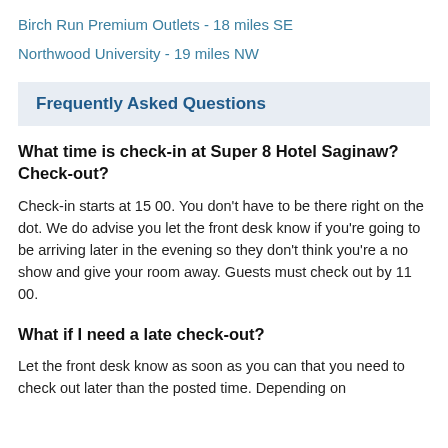Birch Run Premium Outlets - 18 miles SE
Northwood University - 19 miles NW
Frequently Asked Questions
What time is check-in at Super 8 Hotel Saginaw? Check-out?
Check-in starts at 15 00. You don't have to be there right on the dot. We do advise you let the front desk know if you're going to be arriving later in the evening so they don't think you're a no show and give your room away. Guests must check out by 11 00.
What if I need a late check-out?
Let the front desk know as soon as you can that you need to check out later than the posted time. Depending on